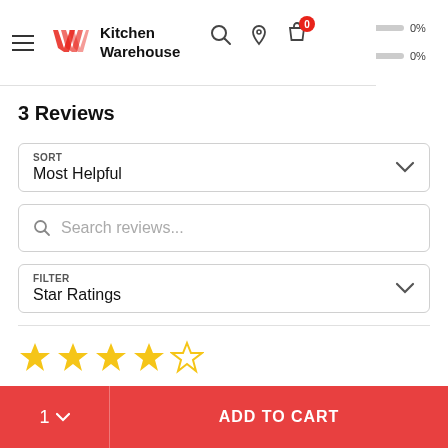[Figure (logo): Kitchen Warehouse logo with red chevron/W mark and bold text 'Kitchen Warehouse']
[Figure (infographic): Rating bars showing 0% for two rows, plus header navigation icons (search, location pin, shopping bag with 0 badge)]
3 Reviews
SORT
Most Helpful
Search reviews...
FILTER
Star Ratings
[Figure (infographic): 4 filled gold stars and 1 empty star (4 out of 5 star rating)]
1  ADD TO CART